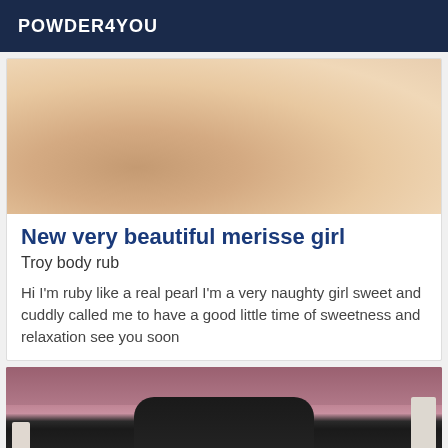POWDER4YOU
[Figure (photo): Partial view of a person lying down, skin visible, soft lighting]
New very beautiful merisse girl
Troy body rub
Hi I'm ruby like a real pearl I'm a very naughty girl sweet and cuddly called me to have a good little time of sweetness and relaxation see you soon
[Figure (photo): Person wearing a black bodysuit/corset, showing torso and waist, pink background visible]